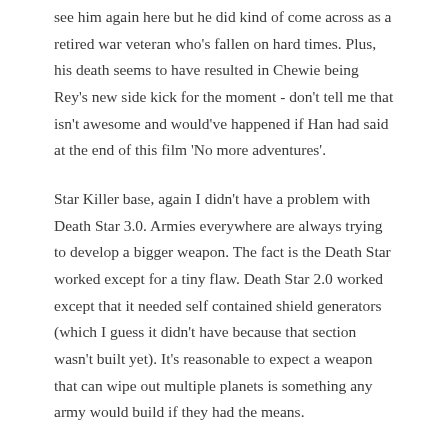see him again here but he did kind of come across as a retired war veteran who's fallen on hard times. Plus, his death seems to have resulted in Chewie being Rey's new side kick for the moment - don't tell me that isn't awesome and would've happened if Han had said at the end of this film 'No more adventures'.
Star Killer base, again I didn't have a problem with Death Star 3.0. Armies everywhere are always trying to develop a bigger weapon. The fact is the Death Star worked except for a tiny flaw. Death Star 2.0 worked except that it needed self contained shield generators (which I guess it didn't have because that section wasn't built yet). It's reasonable to expect a weapon that can wipe out multiple planets is something any army would build if they had the means.